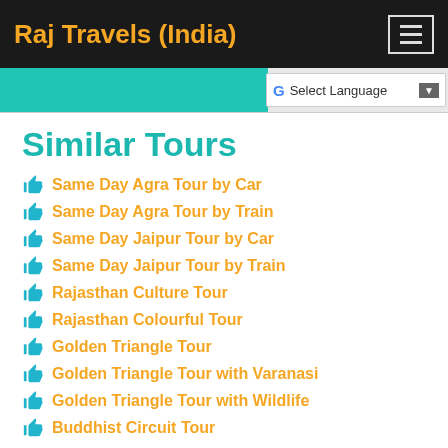Raj Travels (India)
[Figure (screenshot): Google Translate language selector bar with teal accent block on the left and 'Select Language' dropdown on the right]
Similar Tours
Same Day Agra Tour by Car
Same Day Agra Tour by Train
Same Day Jaipur Tour by Car
Same Day Jaipur Tour by Train
Rajasthan Culture Tour
Rajasthan Colourful Tour
Golden Triangle Tour
Golden Triangle Tour with Varanasi
Golden Triangle Tour with Wildlife
Buddhist Circuit Tour